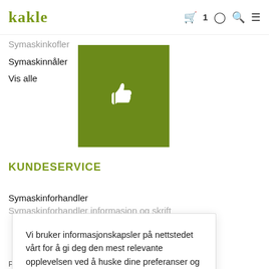Kakle — [cart] 1 [user] [search] [menu]
Symaskinkofler
Symaskinnåler
Vis alle
[Figure (illustration): Green square with white thumbs-up icon]
KUNDESERVICE
Symaskinforhandler
Vi bruker informasjonskapsler på nettstedet vårt for å gi deg den mest relevante opplevelsen ved å huske dine preferanser og gjenta besøk. Ved å klikke "Aksepter", samtykker du i bruken av ALLE informasjonskapslene.
INNSTILLINGER  AKSEPTER